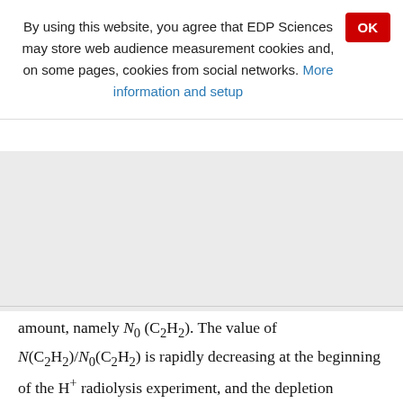By using this website, you agree that EDP Sciences may store web audience measurement cookies and, on some pages, cookies from social networks. More information and setup
amount, namely N0 (C2H2). The value of N(C2H2)/N0(C2H2) is rapidly decreasing at the beginning of the H+ radiolysis experiment, and the depletion behavior starts slowing down at a H+ fluence of ~ 1.5 × 10^14 protons cm^−2 (i.e., ~4.1 eV 16u-molecule^−1). At the end of the H+ radiolysis experiment